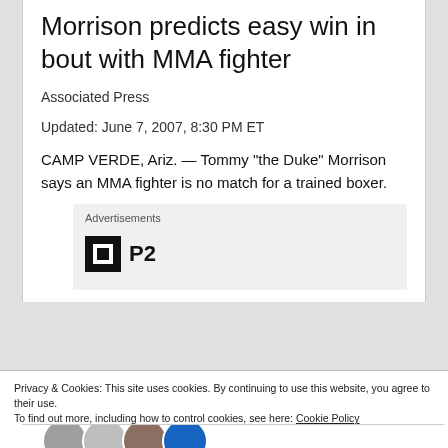Morrison predicts easy win in bout with MMA fighter
Associated Press
Updated: June 7, 2007, 8:30 PM ET
CAMP VERDE, Ariz. — Tommy “the Duke” Morrison says an MMA fighter is no match for a trained boxer.
[Figure (other): Advertisements placeholder with P2 logo]
Privacy & Cookies: This site uses cookies. By continuing to use this website, you agree to their use.
To find out more, including how to control cookies, see here: Cookie Policy
[Figure (other): Row of avatar/profile photo thumbnails at bottom]